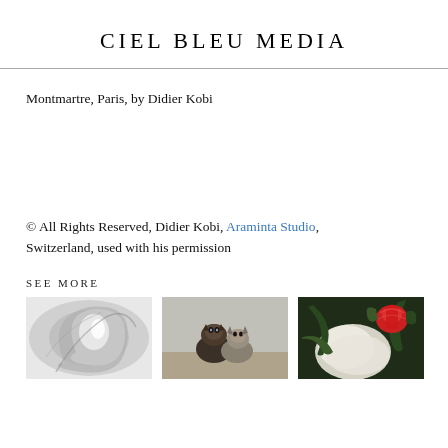CIEL BLEU MEDIA
Montmartre, Paris, by Didier Kobi
© All Rights Reserved, Didier Kobi, Araminta Studio, Switzerland, used with his permission
SEE MORE
[Figure (photo): Three thumbnail photographs: a black and white abstract swirl image, a painting of kittens, and a floral painting with a red flower.]